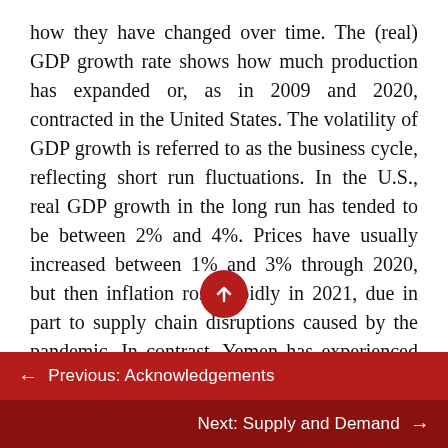how they have changed over time. The (real) GDP growth rate shows how much production has expanded or, as in 2009 and 2020, contracted in the United States. The volatility of GDP growth is referred to as the business cycle, reflecting short run fluctuations. In the U.S., real GDP growth in the long run has tended to be between 2% and 4%. Prices have usually increased between 1% and 3% through 2020, but then inflation rose rapidly in 2021, due in part to supply chain disruptions caused by the pandemic. In contrast, Yemen has experienced much more volatile production and prices, with the real GDP growth rate ranging from a high of 8% to a low of -28%. Inflation has likewise varied from a 55%
← Previous: Acknowledgements
Next: Supply and Demand →